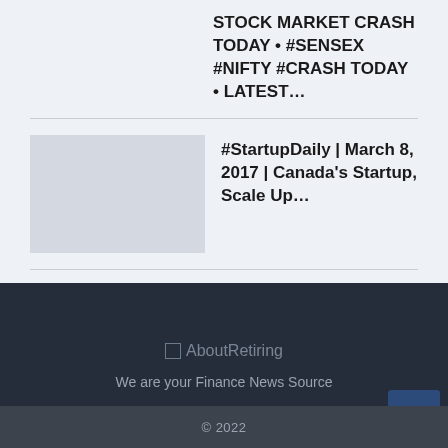STOCK MARKET CRASH TODAY • #SENSEX #NIFTY #CRASH TODAY • LATEST…
[Figure (photo): Thumbnail image placeholder for StartupDaily article]
#StartupDaily | March 8, 2017 | Canada's Startup, Scale Up…
[Figure (photo): Thumbnail image placeholder for Startup Journey article]
Startup Journey? from 0-200Cr. Co-working Empire? | Funding…
[Figure (logo): AboutRetiring logo placeholder]
We are your Finance News Source
© 2022